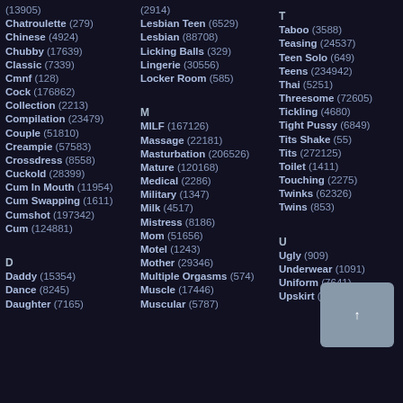(13905)
Chatroulette (279)
Chinese (4924)
Chubby (17639)
Classic (7339)
Cmnf (128)
Cock (176862)
Collection (2213)
Compilation (23479)
Couple (51810)
Creampie (57583)
Crossdress (8558)
Cuckold (28399)
Cum In Mouth (11954)
Cum Swapping (1611)
Cumshot (197342)
Cum (124881)
D
Daddy (15354)
Dance (8245)
Daughter (7165)
(2914)
Lesbian Teen (6529)
Lesbian (88708)
Licking Balls (329)
Lingerie (30556)
Locker Room (585)
M
MILF (167126)
Massage (22181)
Masturbation (206526)
Mature (120168)
Medical (2286)
Military (1347)
Milk (4517)
Mistress (8186)
Mom (51656)
Motel (1243)
Mother (29346)
Multiple Orgasms (574)
Muscle (17446)
Muscular (5787)
T
Taboo (3588)
Teasing (24537)
Teen Solo (649)
Teens (234942)
Thai (5251)
Threesome (72605)
Tickling (4680)
Tight Pussy (6849)
Tits Shake (55)
Tits (272125)
Toilet (1411)
Touching (2275)
Twinks (62326)
Twins (853)
U
Ugly (909)
Underwear (1091)
Uniform (7641)
Upskirt (2554)